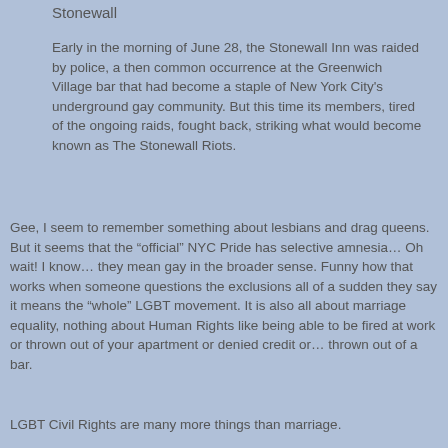Stonewall
Early in the morning of June 28, the Stonewall Inn was raided by police, a then common occurrence at the Greenwich Village bar that had become a staple of New York City's underground gay community. But this time its members, tired of the ongoing raids, fought back, striking what would become known as The Stonewall Riots.
Gee, I seem to remember something about lesbians and drag queens. But it seems that the “official” NYC Pride has selective amnesia… Oh wait! I know… they mean gay in the broader sense. Funny how that works when someone questions the exclusions all of a sudden they say it means the “whole” LGBT movement. It is also all about marriage equality, nothing about Human Rights like being able to be fired at work or thrown out of your apartment or denied credit or… thrown out of a bar.
LGBT Civil Rights are many more things than marriage.